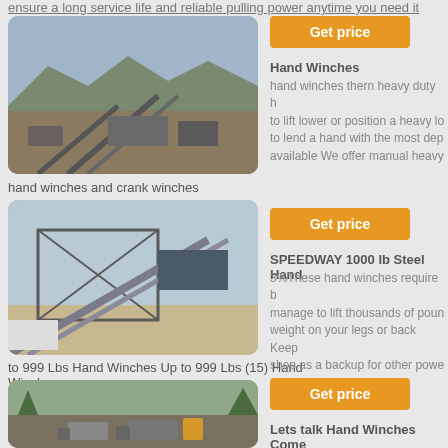ensure a long service life and reliable pulling power anytime you need it
[Figure (photo): Aerial view of an industrial quarry/mining processing plant with conveyor belts and machinery against a mountain backdrop]
hand winches and crank winches
[Figure (photo): Industrial facility with large metal framework structure and conveyor systems]
to 999 Lbs Hand Winches Up to 999 Lbs (15) Hand Winches
[Figure (photo): Outdoor quarry/mining operation with trucks and heavy equipment loading material]
Get price
Hand Winches
hand winches thern heavy duty h to lift lower or position a heavy lo to lend a hand with the most dep available We offer manual heavy
Get price
SPEEDWAY 1000 lb Steel Hand
3%These hand winches require b manage to lift thousands of poun weight on your legs or back Keep shop as a backup for other powe
Get price
Lets talk Hand Winches Come
Oct 10 2012Lets talk Hand Winc whatever you want to call them T of recovery equipment however b